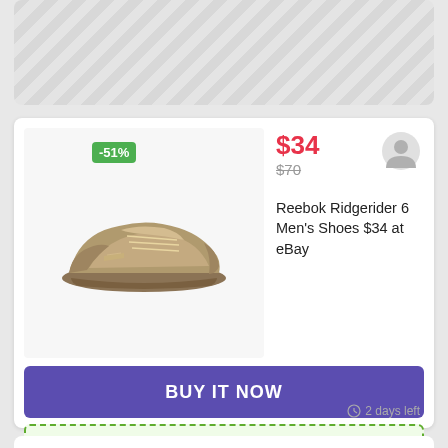[Figure (illustration): Top card with diagonal stripe pattern background]
[Figure (photo): Reebok Ridgerider 6 men's running shoe in tan/gold color with -51% discount badge]
$34
$70
Reebok Ridgerider 6 Men's Shoes $34 at eBay
BUY IT NOW
LABORDAYSAVE
APPAREL & FASHION
eBay Deals, Promo, Coupons Codes | books, consumer electronics, crafts, apparel, home, and garden
2 days left